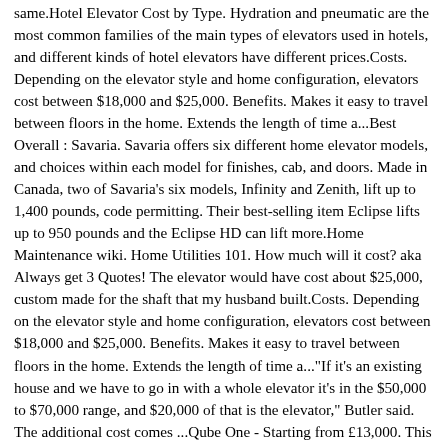same.Hotel Elevator Cost by Type. Hydration and pneumatic are the most common families of the main types of elevators used in hotels, and different kinds of hotel elevators have different prices.Costs. Depending on the elevator style and home configuration, elevators cost between $18,000 and $25,000. Benefits. Makes it easy to travel between floors in the home. Extends the length of time a...Best Overall : Savaria. Savaria offers six different home elevator models, and choices within each model for finishes, cab, and doors. Made in Canada, two of Savaria's six models, Infinity and Zenith, lift up to 1,400 pounds, code permitting. Their best-selling item Eclipse lifts up to 950 pounds and the Eclipse HD can lift more.Home Maintenance wiki. Home Utilities 101. How much will it cost? aka Always get 3 Quotes! The elevator would have cost about $25,000, custom made for the shaft that my husband built.Costs. Depending on the elevator style and home configuration, elevators cost between $18,000 and $25,000. Benefits. Makes it easy to travel between floors in the home. Extends the length of time a..."If it's an existing house and we have to go in with a whole elevator it's in the $50,000 to $70,000 range, and $20,000 of that is the elevator," Butler said. The additional cost comes ...Qube One - Starting from £13,000. This compact elevator has a smart and innovative design and takes up virtually no space at all in your home! The smallest of our Qube range, Qube One has (more or less) the same dimensions as a conventional wardrobe with a platform width of 80.5cm and a